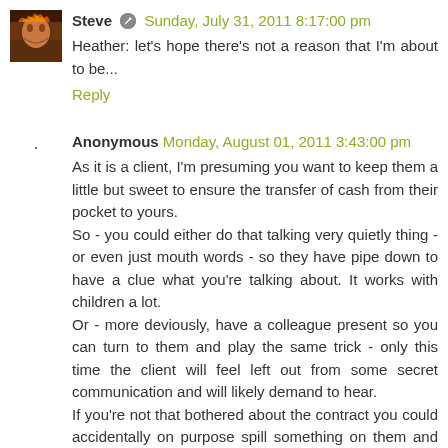Steve  Sunday, July 31, 2011 8:17:00 pm
Heather: let's hope there's not a reason that I'm about to be...
Reply
Anonymous  Monday, August 01, 2011 3:43:00 pm
As it is a client, I'm presuming you want to keep them a little but sweet to ensure the transfer of cash from their pocket to yours.
So - you could either do that talking very quietly thing - or even just mouth words - so they have pipe down to have a clue what you're talking about. It works with children a lot.
Or - more deviously, have a colleague present so you can turn to them and play the same trick - only this time the client will feel left out from some secret communication and will likely demand to hear.
If you're not that bothered about the contract you could accidentally on purpose spill something on them and then accidentally thump them as you rush to help.